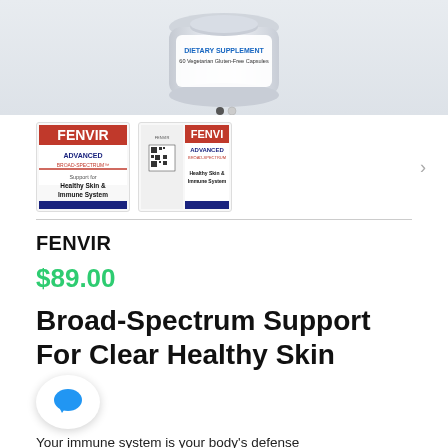[Figure (photo): Fenvir dietary supplement bottle (white/silver) shown from above against light gray background, with '60 Vegetarian Gluten-Free Capsules' label visible]
[Figure (photo): Two thumbnail images of Fenvir Advanced Broad-Spectrum product — one showing the front label 'Healthy Skin & Immune System', one showing front and back label with QR code]
FENVIR
$89.00
Broad-Spectrum Support For Clear Healthy Skin
Your immune system is your body's defense mec...